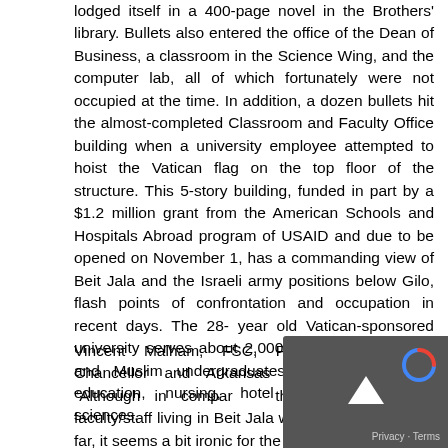lodged itself in a 400-page novel in the Brothers' library. Bullets also entered the office of the Dean of Business, a classroom in the Science Wing, and the computer lab, all of which fortunately were not occupied at the time. In addition, a dozen bullets hit the almost-completed Classroom and Faculty Office building when a university employee attempted to hoist the Vatican flag on the top floor of the structure. This 5-story building, funded in part by a $1.2 million grant from the American Schools and Hospitals Abroad program of USAID and due to be opened on November 1, has a commanding view of Beit Jala and the Israeli army positions below Gilo, flash points of confrontation and occupation in recent days. The 28-year old Vatican-sponsored university serves about 2,000 Palestinian Christian and Muslim undergraduates in arts, business, education, nursing, hotel management, and sciences.
Vincent Malham, FSC, President and Vice Chancellor and Arkansas native, commented, "Although in comparison the suffering of our faculty/staff living in Beit Jala we been very lucky so far, it seems a bit ironic for the...